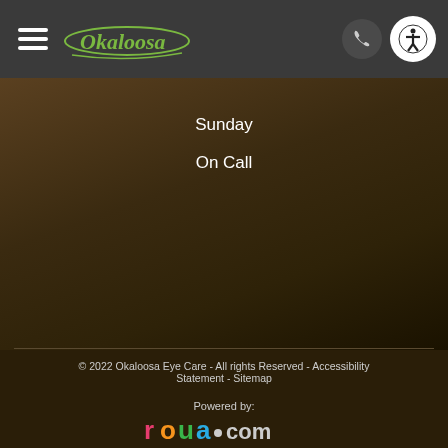[Figure (logo): Okaloosa eye care logo in green cursive script on dark gray header bar with hamburger menu icon on left and phone/accessibility icons on right]
Sunday
On Call
© 2022 Okaloosa Eye Care - All rights Reserved - Accessibility Statement - Sitemap
Powered by:
[Figure (logo): roya.com logo in colorful text]